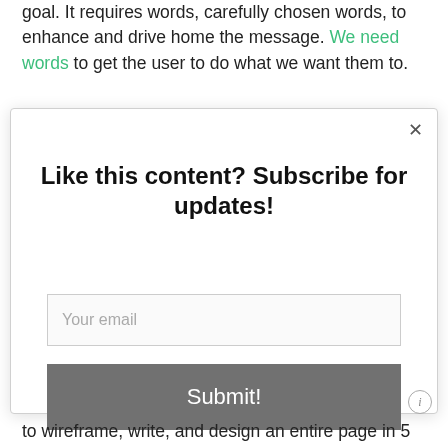goal. It requires words, carefully chosen words, to enhance and drive home the message. We need words to get the user to do what we want them to.
[Figure (screenshot): A modal popup overlay with title 'Like this content? Subscribe for updates!', an email input field with placeholder 'Your email', a grey 'Submit!' button, and a close (×) button in the top-right corner.]
to wireframe, write, and design an entire page in 5